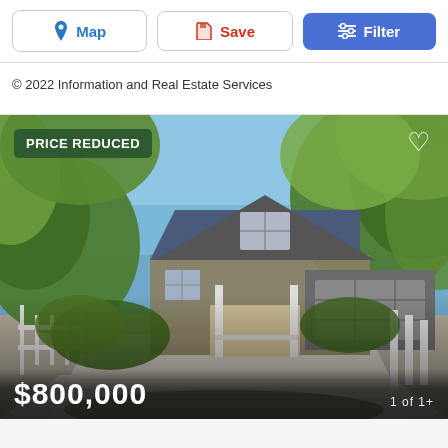Map | Save | Filter
© 2022 Information and Real Estate Services
[Figure (photo): Exterior photo of a craftsman-style home with blue siding, covered porch, attached garage, large driveway, and lush green trees. A white picket fence is visible on the left. A 'PRICE REDUCED' badge appears in the upper-left corner and a heart icon in the upper-right. Price overlay reads '$800,000' at the bottom.]